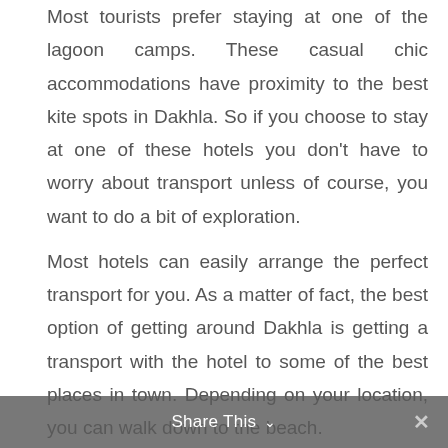Most tourists prefer staying at one of the lagoon camps. These casual chic accommodations have proximity to the best kite spots in Dakhla. So if you choose to stay at one of these hotels you don't have to worry about transport unless of course, you want to do a bit of exploration.
Most hotels can easily arrange the perfect transport for you. As a matter of fact, the best option of getting around Dakhla is getting a transport with the hotel to some of the best places in town. Depending on your location, you can walk down to the beach.
Alternatively, you can opt for a car rental to get around at your own convenience. Car rentals cost around 30 Euros daily. If you would like to explore the white dune, Porto Rico, Imlili and other landmarks then a 4×4 will
Share This ×